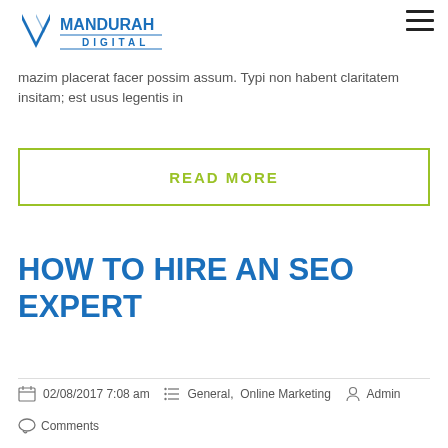Mandurah Digital
mazim placerat facer possim assum. Typi non habent claritatem insitam; est usus legentis in
READ MORE
HOW TO HIRE AN SEO EXPERT
02/08/2017 7:08 am  General,  Online Marketing  Admin
Comments